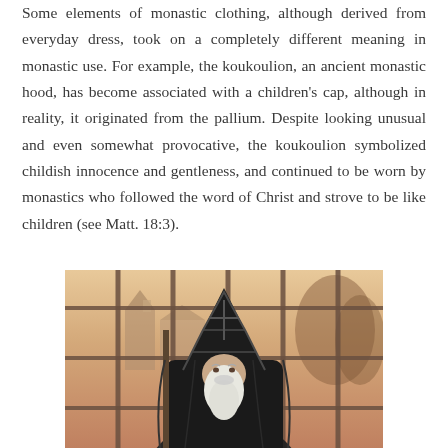Some elements of monastic clothing, although derived from everyday dress, took on a completely different meaning in monastic use. For example, the koukoulion, an ancient monastic hood, has become associated with a children's cap, although in reality, it originated from the pallium. Despite looking unusual and even somewhat provocative, the koukoulion symbolized childish innocence and gentleness, and continued to be worn by monastics who followed the word of Christ and strove to be like children (see Matt. 18:3).
[Figure (illustration): Painting of a monk or monastic figure wearing a dark hooded cloak (koukoulion) with decorative patterns, depicted with a long white beard, standing before a large window with an arched monastery or church visible in a warm, hazy background landscape.]